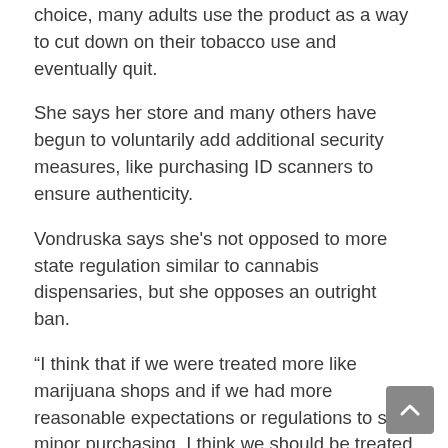choice, many adults use the product as a way to cut down on their tobacco use and eventually quit.
She says her store and many others have begun to voluntarily add additional security measures, like purchasing ID scanners to ensure authenticity.
Vondruska says she's not opposed to more state regulation similar to cannabis dispensaries, but she opposes an outright ban.
“I think that if we were treated more like marijuana shops and if we had more reasonable expectations or regulations to stop minor purchasing, I think we should be treated fairly and the state shouldn’t pick winners and losers,” she said.
Vondruska points out that two doors down from her shop is a marijuana business that sells flavored products, gummies and more, so she doesn’t believe the